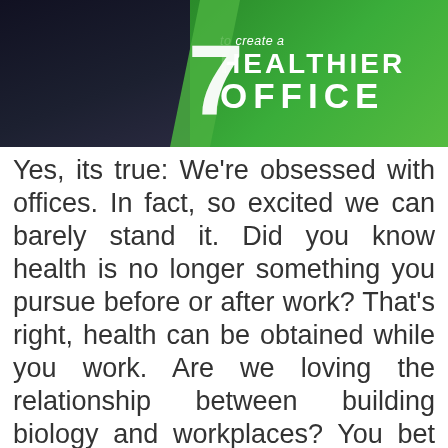[Figure (infographic): Infographic header image showing a dark silhouette figure on the left and a green banner on the right with white text reading 'to create a HEALTHIER OFFICE' with a large number 7 and diagonal slash.]
Yes, its true: We're obsessed with offices. In fact, so excited we can barely stand it. Did you know health is no longer something you pursue before or after work? That's right, health can be obtained while you work. Are we loving the relationship between building biology and workplaces? You bet we are. It's like getting married, except the marriage is between work and health. And the great news is, more research is being done to